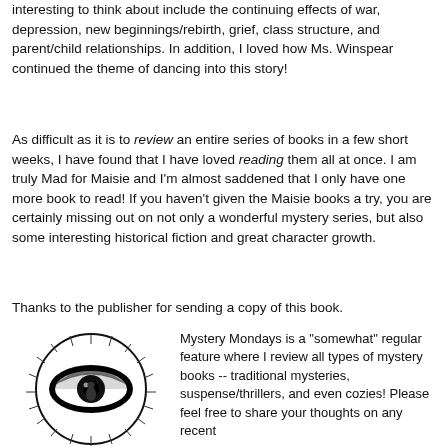interesting to think about include the continuing effects of war, depression, new beginnings/rebirth, grief, class structure, and parent/child relationships. In addition, I loved how Ms. Winspear continued the theme of dancing into this story!
As difficult as it is to review an entire series of books in a few short weeks, I have found that I have loved reading them all at once. I am truly Mad for Maisie and I'm almost saddened that I only have one more book to read! If you haven't given the Maisie books a try, you are certainly missing out on not only a wonderful mystery series, but also some interesting historical fiction and great character growth.
Thanks to the publisher for sending a copy of this book.
[Figure (illustration): Black and white circular illustration of an eye with radiating lines around it, stylized like a detective or mystery logo]
Mystery Mondays is a "somewhat" regular feature where I review all types of mystery books -- traditional mysteries, suspense/thrillers, and even cozies! Please feel free to share your thoughts on any recent